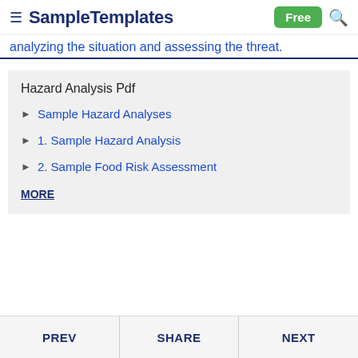SampleTemplates  Free
analyzing the situation and assessing the threat.
Hazard Analysis Pdf
Sample Hazard Analyses
1. Sample Hazard Analysis
2. Sample Food Risk Assessment
MORE
PREV  SHARE  NEXT